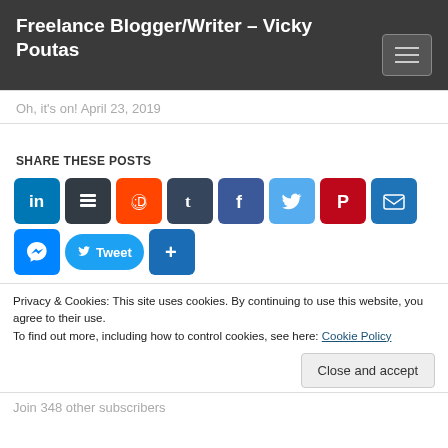Freelance Blogger/Writer – Vicky Poutas
Oh, it's on! April 23, 2019
SHARE THESE POSTS
[Figure (infographic): Social share buttons: LinkedIn, Buffer, Reddit, Tumblr, Facebook, Twitter, Pinterest, Email, Messenger, Tweet button, More (+)]
Privacy & Cookies: This site uses cookies. By continuing to use this website, you agree to their use.
To find out more, including how to control cookies, see here: Cookie Policy
Close and accept
Join 348 other subscribers